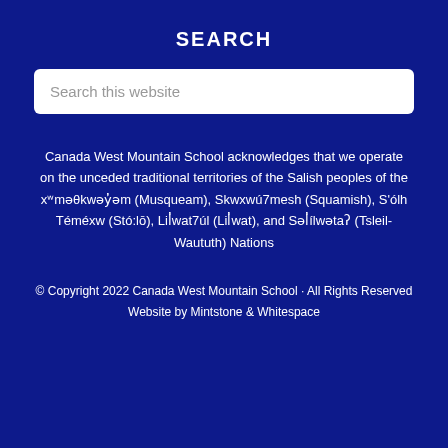SEARCH
Search this website
Canada West Mountain School acknowledges that we operate on the unceded traditional territories of the Salish peoples of the xʷməθkwəy̓əm (Musqueam), Skwxwú7mesh (Squamish), S'ólh Téméxw (Stó:lō), Lil̓wat7úl (Lil̓wat), and Səl̓ílwətaʔ (Tsleil-Waututh) Nations
© Copyright 2022 Canada West Mountain School · All Rights Reserved
Website by Mintstone & Whitespace